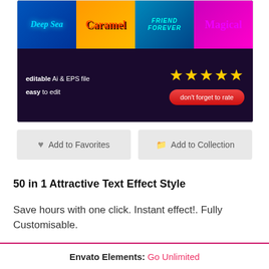[Figure (screenshot): Product preview image showing 50-in-1 text effect styles with colorful text samples (Deep Sea, Caramel, Friend Forever, Magical) and a rating section with 5 stars and 'don't forget to rate' button. Text overlay: 'editable Ai & EPS file, easy to edit'.]
Add to Favorites
Add to Collection
50 in 1 Attractive Text Effect Style
Save hours with one click. Instant effect!. Fully Customisable.
Envato Elements: Go Unlimited